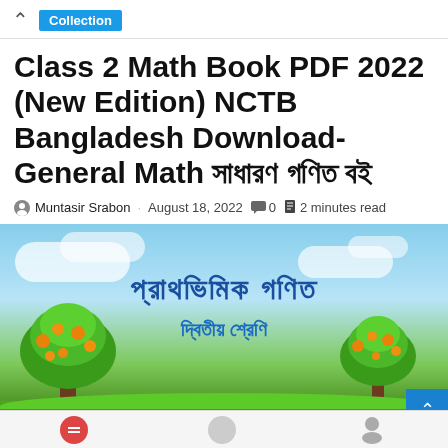Collection
Class 2 Math Book PDF 2022 (New Edition) NCTB Bangladesh Download- General Math সাধারণ গণিত বই
Muntasir Srabon · August 18, 2022 0 2 minutes read
[Figure (illustration): Book cover illustration for 'Prathamik Ganit (Primary Math) Dwitiya Sreni (Class 2)' — a colorful scene with blue sky, clouds, two green mango trees with orange fruits, and a green grassy ground.]